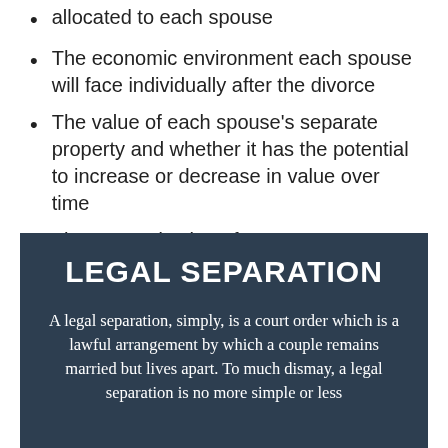allocated to each spouse
The economic environment each spouse will face individually after the divorce
The value of each spouse's separate property and whether it has the potential to increase or decrease in value over time
The use and value of any separate property for marital purposes
LEGAL SEPARATION
A legal separation, simply, is a court order which is a lawful arrangement by which a couple remains married but lives apart. To much dismay, a legal separation is no more simple or less